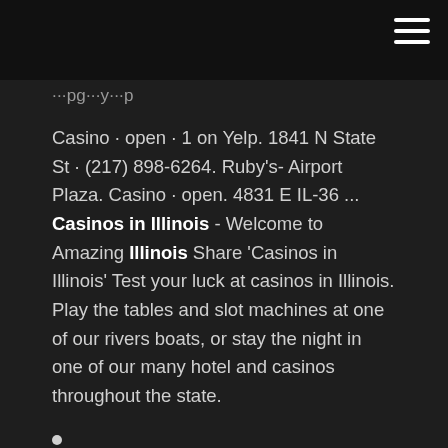Casino · open · 1 on Yelp. 1841 N State St · (217) 898-6264. Ruby's- Airport Plaza. Casino · open. 4831 E IL-36 ... Casinos in Illinois - Welcome to Amazing Illinois Share 'Casinos in Illinois' Test your luck at casinos in Illinois. Play the tables and slot machines at one of our rivers boats, or stay the night in one of our many hotel and casinos throughout the state.